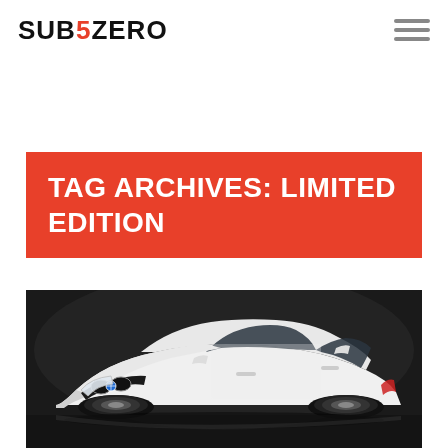SUB5ZERO
TAG ARCHIVES: LIMITED EDITION
[Figure (photo): White BMW 4-series coupe photographed in a dark studio setting, front three-quarter view showing the BMW roundel, black grille, headlights, and white body panels.]